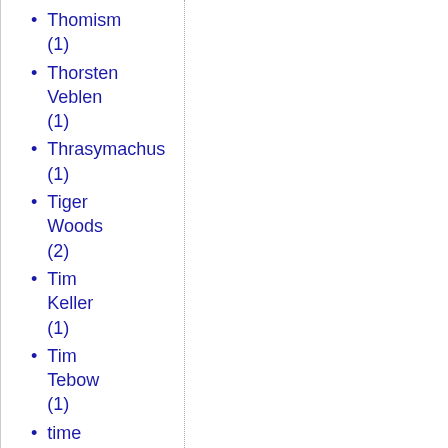Thomism (1)
Thorsten Veblen (1)
Thrasymachus (1)
Tiger Woods (2)
Tim Keller (1)
Tim Tebow (1)
time (1)
Tocqueville (7)
tolerance (2)
Tolkien (1)
Tom